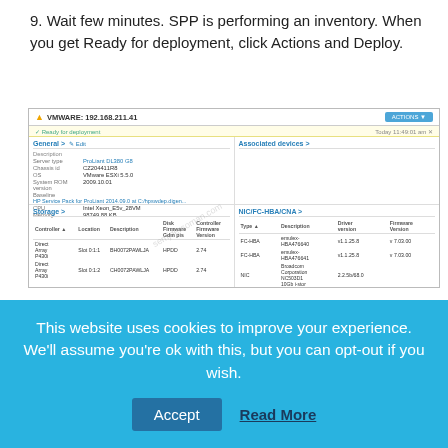9. Wait few minutes. SPP is performing an inventory. When you get Ready for deployment, click Actions and Deploy.
[Figure (screenshot): Screenshot of SPP web interface showing VMware 192.168.211.41 host with Ready for deployment status, General section with server details (ProLiant DL380 G8, OS VMware ESXi 5.5.0, System ROM version 2009.10.01, CPU Intel Xeon, Memory 98749 KB), Storage section with disk array controllers, and NIC/FC-HBA/CNA section with FC-HBA and NIC entries.]
This website uses cookies to improve your experience. We'll assume you're ok with this, but you can opt-out if you wish.
Accept  Read More